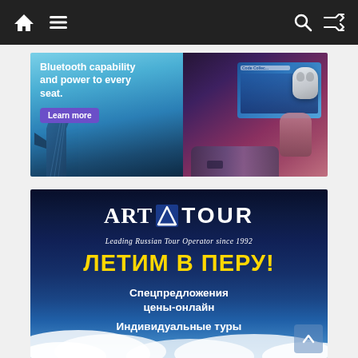Navigation bar with home, menu, search, and shuffle icons
[Figure (photo): United Airlines advertisement banner: 'Bluetooth capability and power to every seat. Learn more' with airplane tail and person holding AirPods near seat screen]
[Figure (photo): ART TOUR travel agency advertisement on dark blue sky background. Text: 'ART TOUR - Leading Russian Tour Operator since 1992', 'ЛЕТИМ В ПЕРУ!', 'Спецпредложения цены-онлайн', 'Индивидуальные туры']